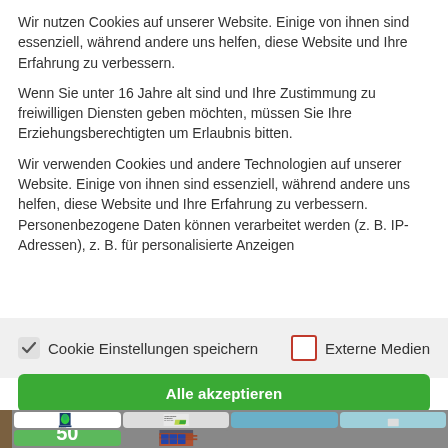Wir nutzen Cookies auf unserer Website. Einige von ihnen sind essenziell, während andere uns helfen, diese Website und Ihre Erfahrung zu verbessern.
Wenn Sie unter 16 Jahre alt sind und Ihre Zustimmung zu freiwilligen Diensten geben möchten, müssen Sie Ihre Erziehungsberechtigten um Erlaubnis bitten.
Wir verwenden Cookies und andere Technologien auf unserer Website. Einige von ihnen sind essenziell, während andere uns helfen, diese Website und Ihre Erfahrung zu verbessern. Personenbezogene Daten können verarbeitet werden (z. B. IP-Adressen), z. B. für personalisierte Anzeigen
Cookie Einstellungen speichern
Externe Medien
[Figure (screenshot): Green button partially visible with text 'Alle akzeptieren' and a bottom grid of website images including a logo, company info, blue panels, a green panel with '50 Dächer Programm', and solar panel image.]